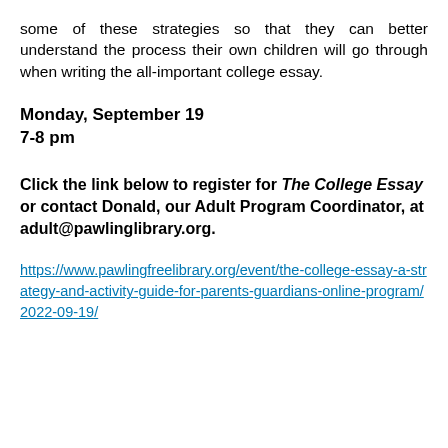some of these strategies so that they can better understand the process their own children will go through when writing the all-important college essay.
Monday, September 19
7-8 pm
Click the link below to register for The College Essay or contact Donald, our Adult Program Coordinator, at adult@pawlinglibrary.org.
https://www.pawlingfreelibrary.org/event/the-college-essay-a-strategy-and-activity-guide-for-parents-guardians-online-program/2022-09-19/